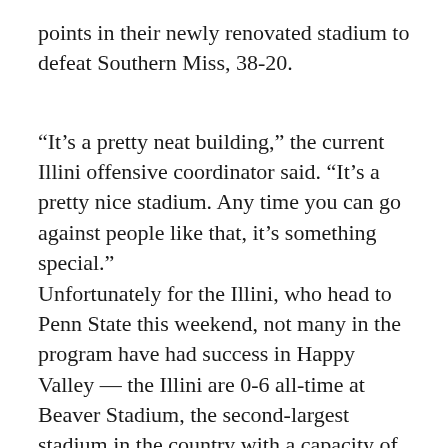points in their newly renovated stadium to defeat Southern Miss, 38-20.
“It’s a pretty neat building,” the current Illini offensive coordinator said. “It’s a pretty nice stadium. Any time you can go against people like that, it’s something special.” Unfortunately for the Illini, who head to Penn State this weekend, not many in the program have had success in Happy Valley — the Illini are 0-6 all-time at Beaver Stadium, the second-largest stadium in the country with a capacity of 107,282. Penn State is also home to what Kirk Herbstreit